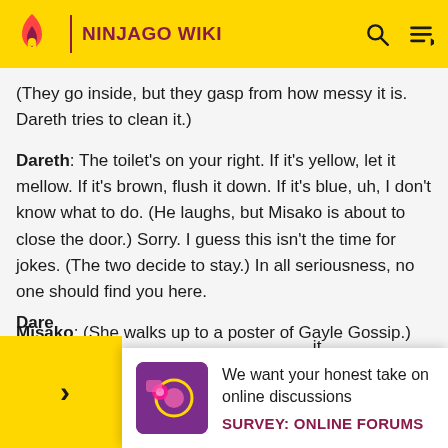NINJAGO WIKI
(They go inside, but they gasp from how messy it is. Dareth tries to clean it.)
Dareth: The toilet's on your right. If it's yellow, let it mellow. If it's brown, flush it down. If it's blue, uh, I don't know what to do. (He laughs, but Misako is about to close the door.) Sorry. I guess this isn't the time for jokes. (The two decide to stay.) In all seriousness, no one should find you here.
Misako: (She walks up to a poster of Gayle Gossip.) Gayle Gossip? (Laughs.)
Dare ... shuri ... it
[Figure (infographic): Survey popup: We want your honest take on online discussions. SURVEY: ONLINE FORUMS]